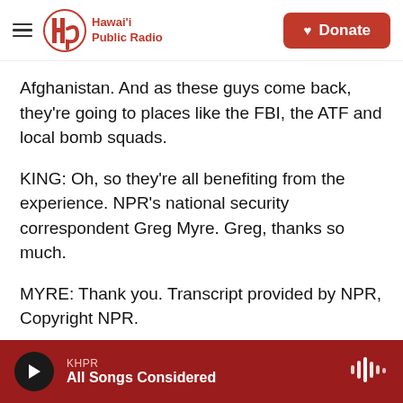Hawai'i Public Radio — Donate
Afghanistan. And as these guys come back, they're going to places like the FBI, the ATF and local bomb squads.
KING: Oh, so they're all benefiting from the experience. NPR's national security correspondent Greg Myre. Greg, thanks so much.
MYRE: Thank you. Transcript provided by NPR, Copyright NPR.
[Figure (infographic): Social share buttons: Facebook, Twitter, LinkedIn, Email]
KHPR — All Songs Considered